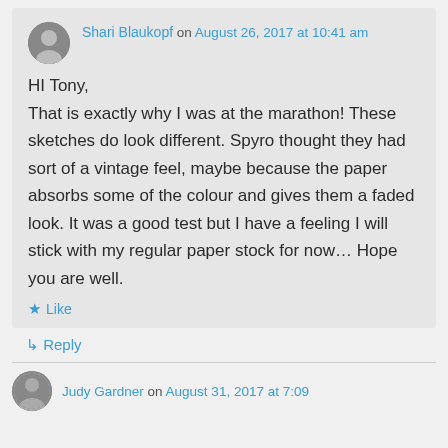Shari Blaukopf on August 26, 2017 at 10:41 am
HI Tony,
That is exactly why I was at the marathon! These sketches do look different. Spyro thought they had sort of a vintage feel, maybe because the paper absorbs some of the colour and gives them a faded look. It was a good test but I have a feeling I will stick with my regular paper stock for now… Hope you are well.
Like
Reply